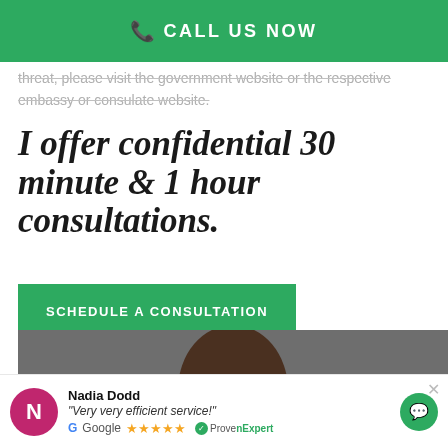CALL US NOW
threat, please visit the government website or the respective embassy or consulate website.
I offer confidential 30 minute & 1 hour consultations.
SCHEDULE A CONSULTATION
[Figure (photo): Photo of a person, showing the top of their head with dark hair against a grey background]
Nadia Dodd
"Very very efficient service!"
Google ★★★★★
ProvenExpert